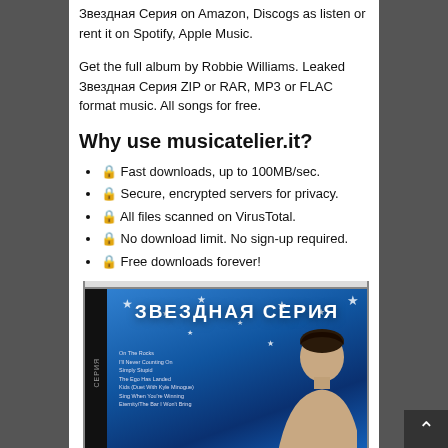Звездная Серия on Amazon, Discogs as listen or rent it on Spotify, Apple Music.
Get the full album by Robbie Williams. Leaked Звездная Серия ZIP or RAR, MP3 or FLAC format music. All songs for free.
Why use musicatelier.it?
🔒 Fast downloads, up to 100MB/sec.
🔒 Secure, encrypted servers for privacy.
🔒 All files scanned on VirusTotal.
🔒 No download limit. No sign-up required.
🔒 Free downloads forever!
[Figure (photo): Album cover for Звездная Серия showing a blue starry background with the album title in large white Cyrillic letters, a CD spine on the left reading 'СЕРИЯ', a tracklist in small text, and a photo of a dark-haired man (Robbie Williams) on the right side.]